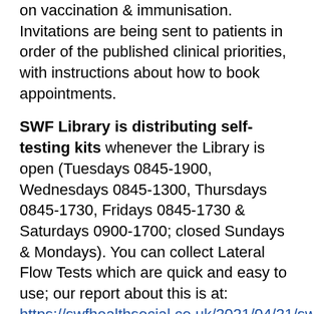on vaccination & immunisation. Invitations are being sent to patients in order of the published clinical priorities, with instructions about how to book appointments.
SWF Library is distributing self-testing kits whenever the Library is open (Tuesdays 0845-1900, Wednesdays 0845-1300, Thursdays 0845-1730, Fridays 0845-1730 & Saturdays 0900-1700; closed Sundays & Mondays). You can collect Lateral Flow Tests which are quick and easy to use; our report about this is at: https://swfhealthsocial.co.uk/2021/04/21/swf-library-to-begin-distributing-self-testing-kits-from-23-april/ .
Ring 999 for life-threatening emergencies. Otherwise ring 111 if you need to book an A&E attendance slot at any time or for all other out of hours' services. For